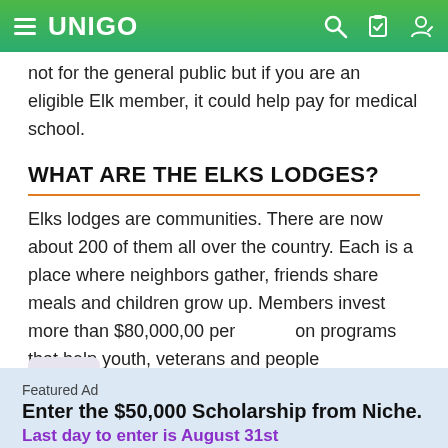UNIGO
not for the general public but if you are an eligible Elk member, it could help pay for medical school.
WHAT ARE THE ELKS LODGES?
Elks lodges are communities. There are now about 200 of them all over the country. Each is a place where neighbors gather, friends share meals and children grow up. Members invest more than $80,000,00 per on programs that help youth, veterans and people
Featured Ad
Enter the $50,000 Scholarship from Niche.
Last day to enter is August 31st
APPLY NOW!